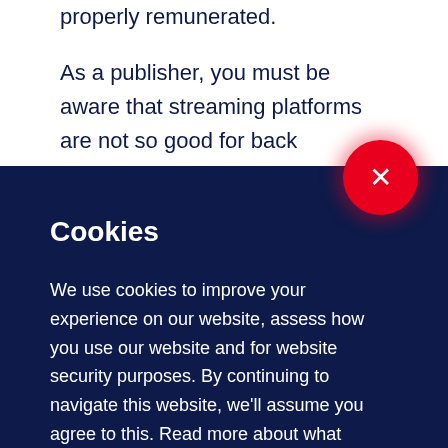properly remunerated.
As a publisher, you must be aware that streaming platforms are not so good for back catalogue or other genres. Sometimes, as much you try to lead the
[Figure (illustration): Red circular close/dismiss button with white X icon, positioned in the upper-right area of a dark navy cookie consent overlay. The button has a red glow effect.]
Cookies
We use cookies to improve your experience on our website, assess how you use our website and for website security purposes. By continuing to navigate this website, we'll assume you agree to this. Read more about what cookies do and how to adjust your settings here.